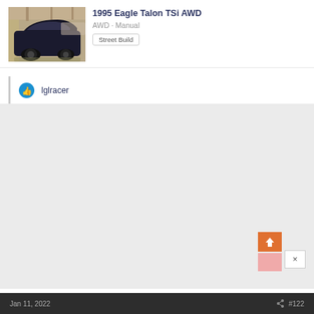1995 Eagle Talon TSi AWD
AWD · Manual
Street Build
lglracer
[Figure (photo): Photo of a dark colored car (Eagle Talon) parked in a garage or covered area, side/rear view visible]
Jan 11, 2022  #122